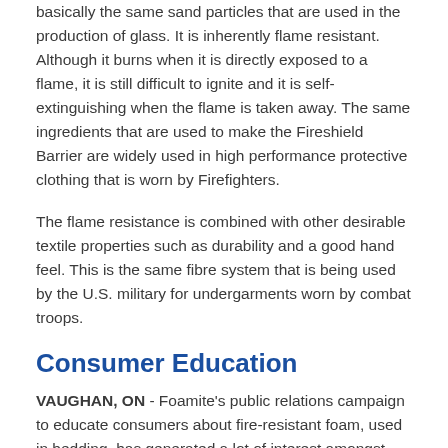basically the same sand particles that are used in the production of glass. It is inherently flame resistant. Although it burns when it is directly exposed to a flame, it is still difficult to ignite and it is self-extinguishing when the flame is taken away. The same ingredients that are used to make the Fireshield Barrier are widely used in high performance protective clothing that is worn by Firefighters.
The flame resistance is combined with other desirable textile properties such as durability and a good hand feel. This is the same fibre system that is being used by the U.S. military for undergarments worn by combat troops.
Consumer Education
VAUGHAN, ON - Foamite's public relations campaign to educate consumers about fire-resistant foam, used in bedding, has generated a lot of interest amongst local Firefighters and sleep experts. "We believe we have a responsibility to make safer mattresses, but ultimately it is up to the consumer to decide what is